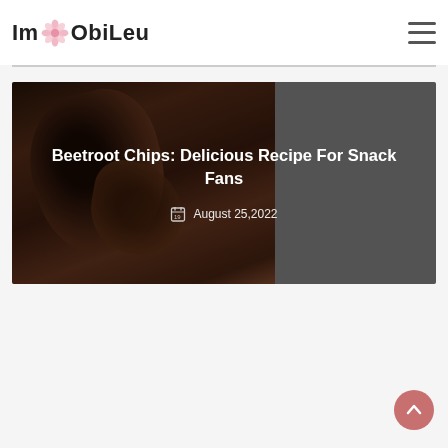ImObiLeu
[Figure (photo): Hero image showing beetroot chips in a paper cone on a gray/dark background, with a semi-transparent overlay and article title and date displayed over it]
Beetroot Chips: Delicious Recipe For Snack Fans
August 25,2022